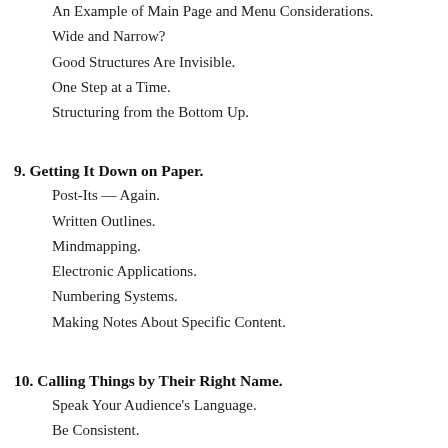An Example of Main Page and Menu Considerations.
Wide and Narrow?
Good Structures Are Invisible.
One Step at a Time.
Structuring from the Bottom Up.
9. Getting It Down on Paper.
Post-Its — Again.
Written Outlines.
Mindmapping.
Electronic Applications.
Numbering Systems.
Making Notes About Specific Content.
10. Calling Things by Their Right Name.
Speak Your Audience's Language.
Be Consistent.
IA Snafus.
Eliminating Doubt.